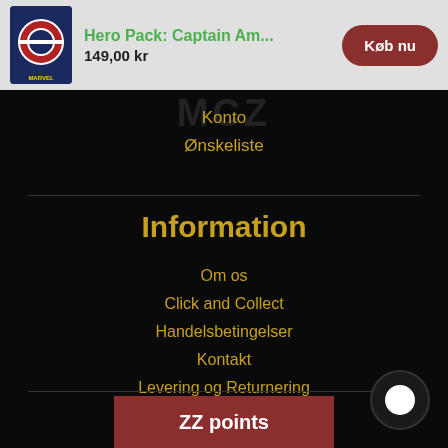Hero Pack: Captain Am...  149,00 kr  Køb nu
Konto
Ønskeliste
Information
Om os
Click and Collect
Handelsbetingelser
Kontakt
Levering og Returnering
Blog
ZZ points